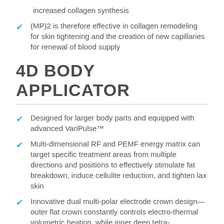increased collagen synthesis
(MP)2 is therefore effective in collagen remodeling for skin tightening and the creation of new capillaries for renewal of blood supply
4D BODY APPLICATOR
Designed for larger body parts and equipped with advanced VariPulse™
Multi-dimensional RF and PEMF energy matrix can target specific treatment areas from multiple directions and positions to effectively stimulate fat breakdown, induce cellulite reduction, and tighten lax skin
Innovative dual multi-polar electrode crown design—outer flat crown constantly controls electro-thermal volumetric heating, while inner deep tetra-